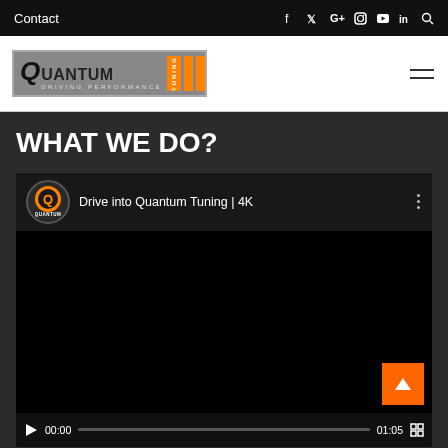Contact
[Figure (logo): Quantum Tuning - Driving Performance logo with orange stripe bars]
WHAT WE DO?
[Figure (screenshot): YouTube embedded video player showing 'Drive into Quantum Tuning | 4K' with Quantum channel avatar, three-dot menu, black video screen with orange up-arrow button, and video controls showing 00:00 / 01:05 timecode]